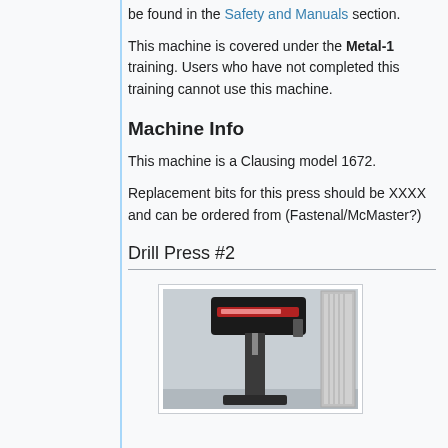be found in the Safety and Manuals section.
This machine is covered under the Metal-1 training. Users who have not completed this training cannot use this machine.
Machine Info
This machine is a Clausing model 1672.
Replacement bits for this press should be XXXX and can be ordered from (Fastenal/McMaster?)
Drill Press #2
[Figure (photo): Photo of a drill press machine (Clausing model), showing the head unit, column, and base against a light background, with a panel/cabinet to the right.]